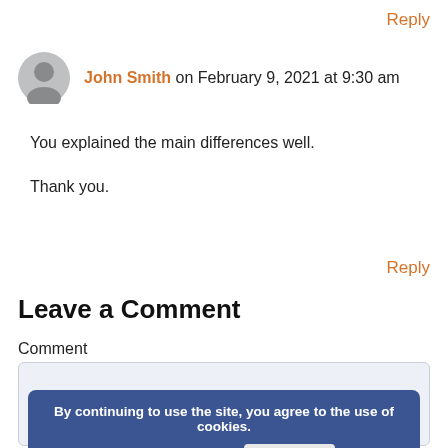Reply
John Smith on February 9, 2021 at 9:30 am
You explained the main differences well.

Thank you.
Reply
Leave a Comment
Comment
[Figure (screenshot): Comment textarea input box with blue cookie consent banner overlay. Banner reads: 'By continuing to use the site, you agree to the use of cookies.' with 'more information' link and 'Accept' button.]